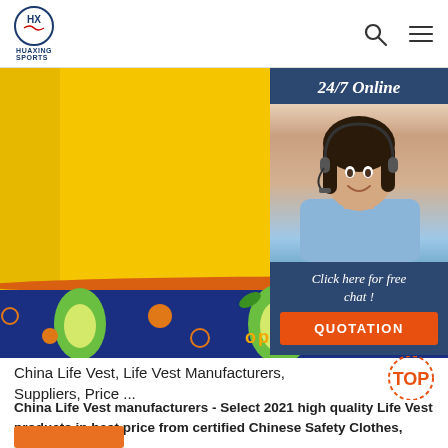HUAXING SPORTS
[Figure (photo): Yellow neoprene life vest/floatation jacket with orange trim and blue avocado-print band at bottom. Partially overlaid by a customer service chat widget on the right showing a female agent with headset. Dark blue background on chat widget with '24/7 Online' text, photo of smiling woman with headset, 'Click here for free chat!' text, and orange QUOTATION button.]
China Life Vest, Life Vest Manufacturers, Suppliers, Price ...
China Life Vest manufacturers - Select 2021 high quality Life Vest products in best price from certified Chinese Safety Clothes, Safety Apparel suppliers, wholesalers and factory on Made-in-China.com, page 8